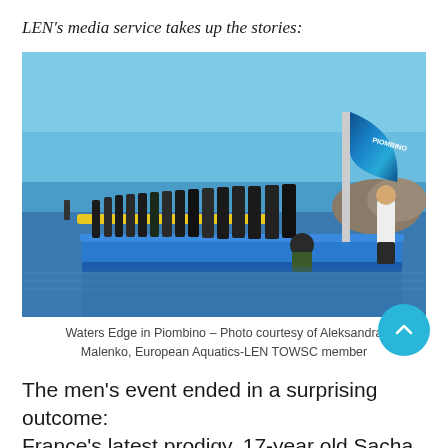LEN's media service takes up the stories:
[Figure (photo): Swimmers in wetsuits standing on a blue floating pontoon/platform at the water's edge in Piombino, with a LEN Piombino event banner/flag visible on the right side. The sea is visible in the background under a clear blue sky.]
Waters Edge in Piombino – Photo courtesy of Aleksandra Malenko, European Aquatics-LEN TOWSC member
The men's event ended in a surprising outcome: France's latest prodigy, 17-year old Sacha Velly –